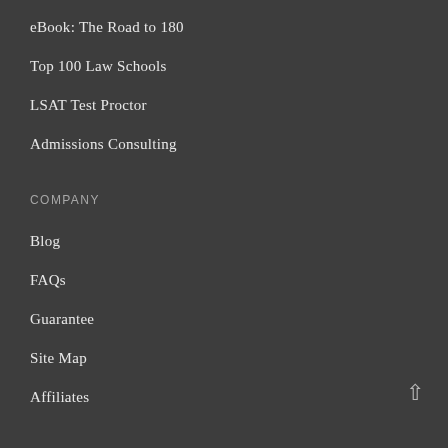eBook: The Road to 180
Top 100 Law Schools
LSAT Test Proctor
Admissions Consulting
COMPANY
Blog
FAQs
Guarantee
Site Map
Affiliates
Careers
Contact
OUR OTHER PREP PRODUCTS